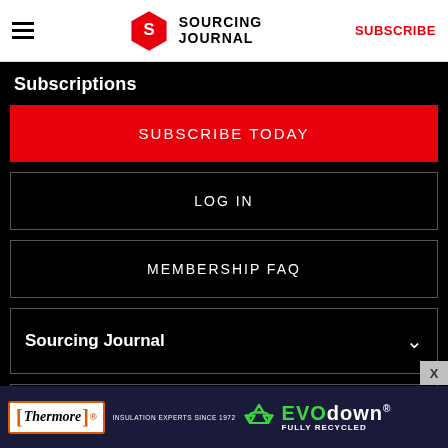Sourcing Journal | SUBSCRIBE
Subscriptions
SUBSCRIBE TODAY
LOG IN
MEMBERSHIP FAQ
Sourcing Journal
Legal
[Figure (screenshot): Thermore EVO down advertisement banner - Insulation Experts Since 1972, Fully Recycled]